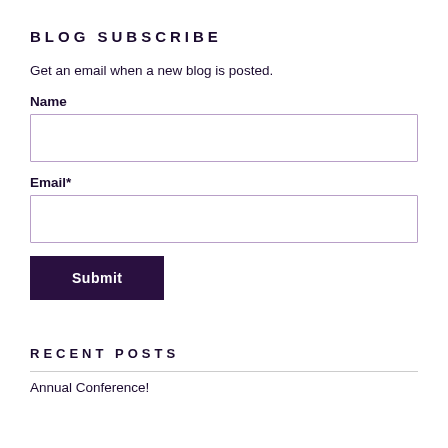BLOG SUBSCRIBE
Get an email when a new blog is posted.
Name
Email*
Submit
RECENT POSTS
Annual Conference!